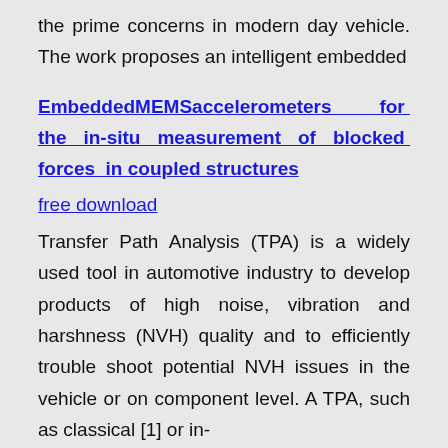the prime concerns in modern day vehicle. The work proposes an intelligent embedded
EmbeddedMEMSaccelerometers for the in-situ measurement of blocked forces in coupled structures
free download
Transfer Path Analysis (TPA) is a widely used tool in automotive industry to develop products of high noise, vibration and harshness (NVH) quality and to efficiently trouble shoot potential NVH issues in the vehicle or on component level. A TPA, such as classical [1] or in-
Design and Modelling ofMEMSbased